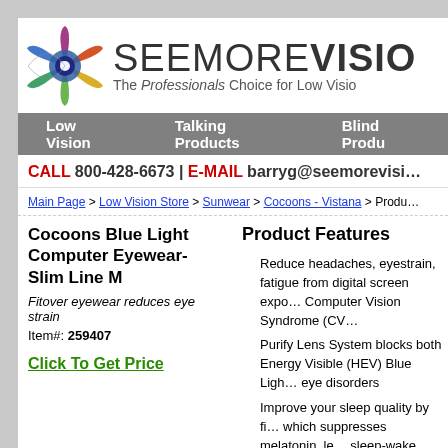[Figure (logo): SeeMoreVision logo with colorful eye graphic and text 'SEEMOREVISION - The Professionals Choice for Low Vision']
Low Vision | Talking Products | Blind Products (navigation bar)
CALL 800-428-6673 | E-MAIL barryg@seemorevision...
Main Page > Low Vision Store > Sunwear > Cocoons - Vistana > Produc...
Cocoons Blue Light Computer Eyewear- Slim Line M
Fitover eyewear reduces eye strain
Item#: 259407
Click To Get Price
Product Features
Reduce headaches, eyestrain, fatigue from digital screen exposure Computer Vision Syndrome (CV...
Purify Lens System blocks both Energy Visible (HEV) Blue Light eye disorders
Improve your sleep quality by fi... which suppresses melatonin, le... sleep-wake cycle
Anti-reflective, chemically-bond... minimizes irritating glare and ha...